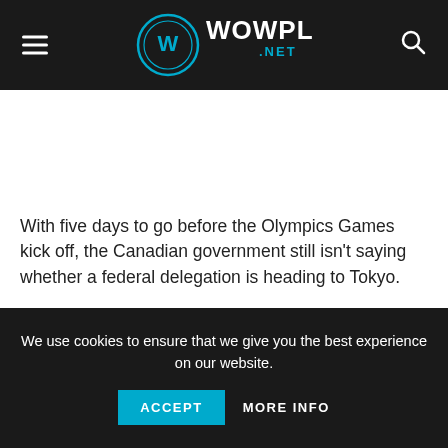WowPlus.net
With five days to go before the Olympics Games kick off, the Canadian government still isn't saying whether a federal delegation is heading to Tokyo.
We use cookies to ensure that we give you the best experience on our website.
ACCEPT   MORE INFO